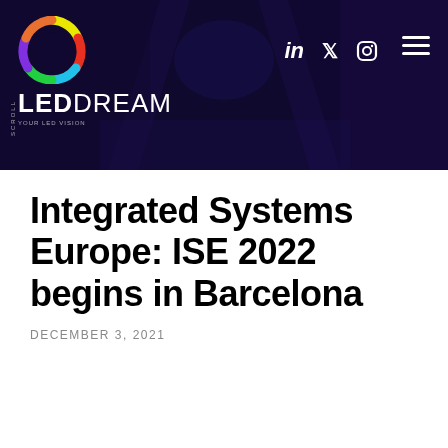[Figure (screenshot): LED Dream website header banner with dark purple/black background showing an indoor event venue corridor with colored lighting. Contains the LED Dream logo (colorful circle icon with LED DREAM text), social media icons (LinkedIn, Twitter, Instagram), and hamburger menu icon.]
Integrated Systems Europe: ISE 2022 begins in Barcelona
DECEMBER 3, 2021